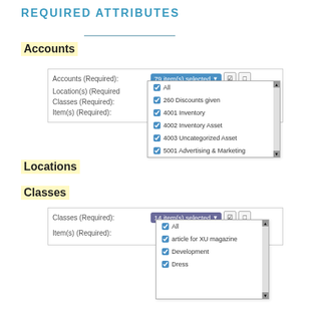REQUIRED ATTRIBUTES
[Figure (screenshot): Screenshot of Accounts required attribute filter with dropdown showing account list: All, 260 Discounts given, 4001 Inventory, 4002 Inventory Asset, 4003 Uncategorized Asset, 5001 Advertising & Marketing, 5001 T Advertising & Marketing Test, 9011 Google Ads, 5021 XU Magazine. Form rows include Accounts (Required): 79 item(s) selected, Location(s) (Required), Classes (Required), Item(s) (Required).]
Accounts
Locations
Classes
[Figure (screenshot): Screenshot of Classes required attribute filter with dropdown showing: All, article for XU magazine, Development, Dress. Form rows include Classes (Required): 14 item(s) selected, Item(s) (Required).]